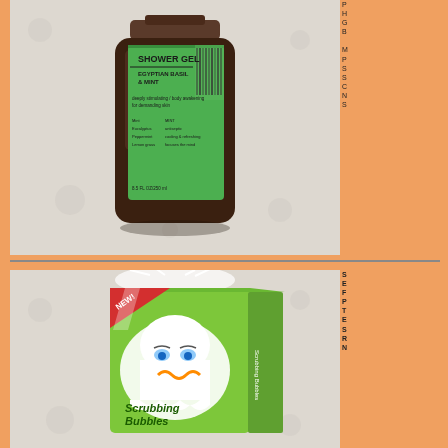[Figure (photo): A dark brown bottle of Shower Gel with green label reading 'SHOWER GEL, EGYPTIAN BASIL & MINT' on a light background]
P H G B M P S S C N S
[Figure (photo): A green box of Scrubbing Bubbles bathroom cleaner with a cartoon bubble mascot and a red 'NEW!' badge, wrapped in a plastic bag]
S E F P T E S R N